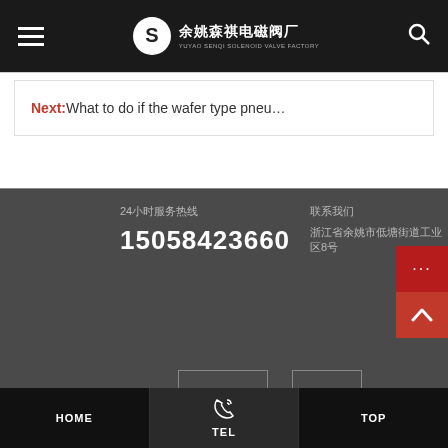余姚森祺电磁阀厂 YUYAO SENQI SOLENOID VALVE FACTORY
Next: What to do if the wafer type pneu…
24小时服务热线
15058423660
联系我们
浙江省余姚市低塘街道工业区8号
HOME | TEL | TOP